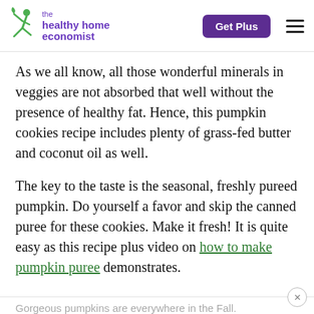the healthy home economist | Get Plus
As we all know, all those wonderful minerals in veggies are not absorbed that well without the presence of healthy fat. Hence, this pumpkin cookies recipe includes plenty of grass-fed butter and coconut oil as well.
The key to the taste is the seasonal, freshly pureed pumpkin. Do yourself a favor and skip the canned puree for these cookies. Make it fresh! It is quite easy as this recipe plus video on how to make pumpkin puree demonstrates.
Gorgeous pumpkins are everywhere in the Fall.